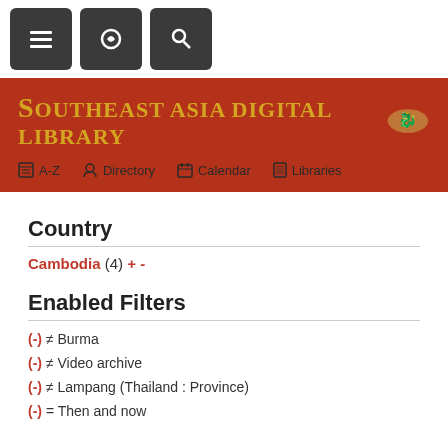Southeast Asia Digital Library - navigation bar with menu, link, and search buttons
[Figure (screenshot): Southeast Asia Digital Library banner with red background, gold serif title text, decorative emblem, and navigation links: A-Z, Directory, Calendar, Libraries]
Country
Cambodia (4) + -
Enabled Filters
(-) ≠ Burma
(-) ≠ Video archive
(-) ≠ Lampang (Thailand : Province)
(-) = Then and now